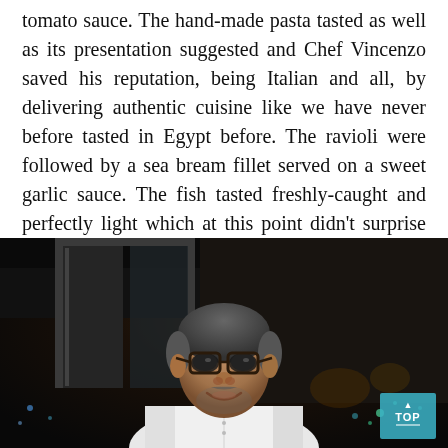tomato sauce. The hand-made pasta tasted as well as its presentation suggested and Chef Vincenzo saved his reputation, being Italian and all, by delivering authentic cuisine like we have never before tasted in Egypt before. The ravioli were followed by a sea bream fillet served on a sweet garlic sauce. The fish tasted freshly-caught and perfectly light which at this point didn't surprise us as Chef Vincenzo had proven himself by now.
[Figure (photo): A smiling male chef wearing glasses and a white chef's jacket, photographed at night in a dark restaurant setting with city lights visible through windows in the background. A teal 'TOP' button overlay appears in the bottom right corner.]